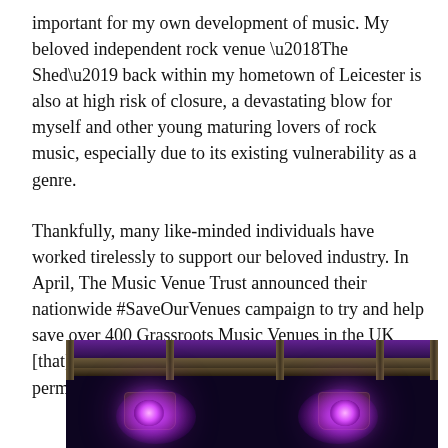important for my own development of music. My beloved independent rock venue ‘The Shed’ back within my hometown of Leicester is also at high risk of closure, a devastating blow for myself and other young maturing lovers of rock music, especially due to its existing vulnerability as a genre.
Thankfully, many like-minded individuals have worked tirelessly to support our beloved industry. In April, The Music Venue Trust announced their nationwide #SaveOurVenues campaign to try and help save over 400 Grassroots Music Venues in the UK [that] are at imminent risk of being closed permanently”. (#saveourvenues, 2020)
[Figure (photo): A dark concert stage photo showing purple/magenta stage lighting rigs and fixtures against a dark background, with bright glowing purple lights visible at the bottom of the frame.]